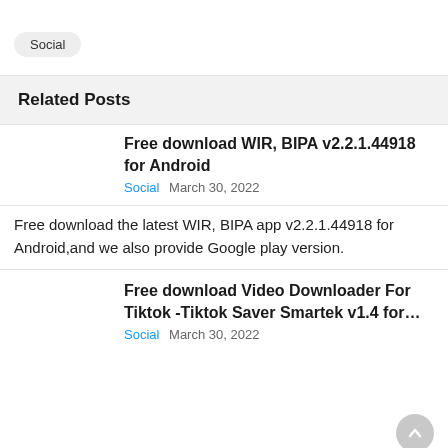Social
Related Posts
Free download WIR, BIPA v2.2.1.44918 for Android
Social   March 30, 2022
Free download the latest WIR, BIPA app v2.2.1.44918 for Android,and we also provide Google play version.
Free download Video Downloader For Tiktok -Tiktok Saver Smartek v1.4 for…
Social   March 30, 2022